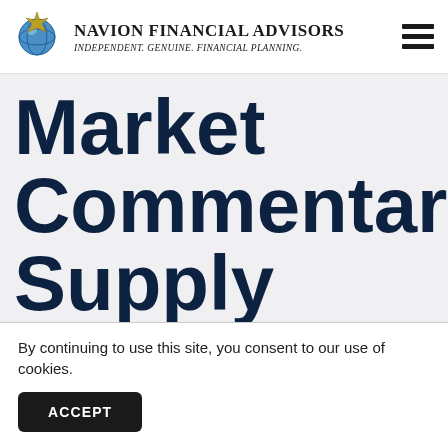NAVION FINANCIAL ADVISORS — Independent. Genuine. Financial Planning.
Market Commentary: Supply Chain Issues Negatively
By continuing to use this site, you consent to our use of cookies.
ACCEPT